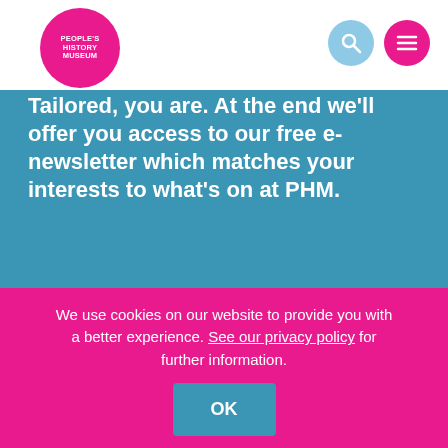[Figure (logo): People's History Museum circular pink logo with white text]
Tailored, you are. At the end we'll offer you access to our free e-newsletter which matches your interests to what's on at PHM.
Take the quiz →
We use cookies on our website to provide you with a better experience. See our privacy policy for further information. OK